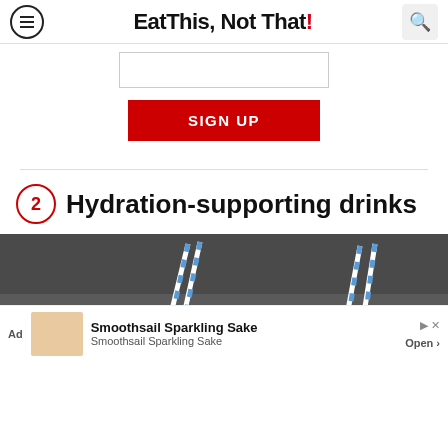Eat This, Not That!
[Figure (other): Email sign-up input box]
SIGN UP
2 Hydration-supporting drinks
[Figure (photo): Overhead photo of berry smoothie drinks in glasses with blue and white striped straws on a dark surface]
Ad  Smoothsail Sparkling Sake  Smoothsail Sparkling Sake  Open >